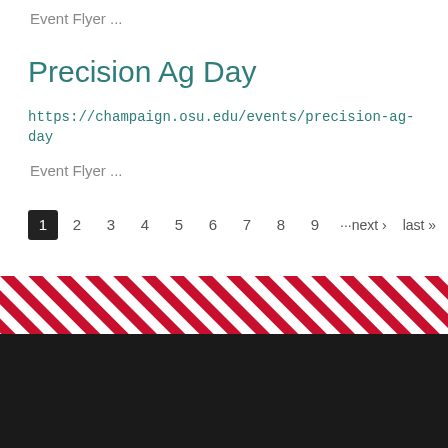Event Flyer ...
Precision Ag Day
https://champaign.osu.edu/events/precision-ag-day
Event Flyer ...
1  2  3  4  5  6  7  8  9  ···next ›  last »
[Figure (illustration): Diagonal red and white stripe decorative banner]
The Ohio State University
© 2022, The Ohio State University
College of Food, Agricultural and Environmental...